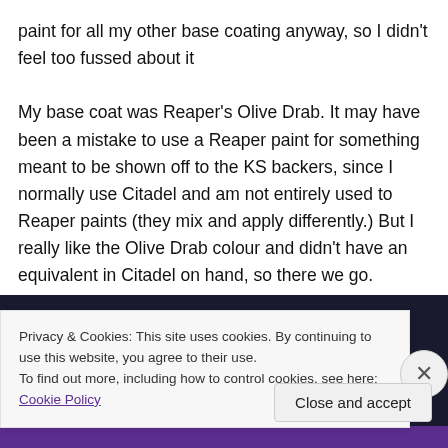paint for all my other base coating anyway, so I didn't feel too fussed about it

My base coat was Reaper's Olive Drab. It may have been a mistake to use a Reaper paint for something meant to be shown off to the KS backers, since I normally use Citadel and am not entirely used to Reaper paints (they mix and apply differently.) But I really like the Olive Drab colour and didn't have an equivalent in Citadel on hand, so there we go.
[Figure (photo): Dark navy/black image strip with a purple bar at the bottom, partially obscured by cookie banner overlay]
Privacy & Cookies: This site uses cookies. By continuing to use this website, you agree to their use.
To find out more, including how to control cookies, see here: Cookie Policy